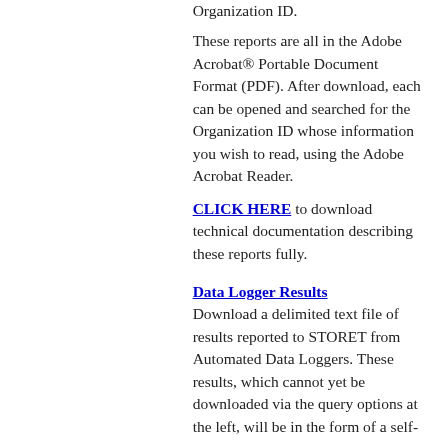Organization ID.
These reports are all in the Adobe Acrobat® Portable Document Format (PDF). After download, each can be opened and searched for the Organization ID whose information you wish to read, using the Adobe Acrobat Reader.
CLICK HERE to download technical documentation describing these reports fully.
Data Logger Results
Download a delimited text file of results reported to STORET from Automated Data Loggers. These results, which cannot yet be downloaded via the query options at the left, will be in the form of a self-